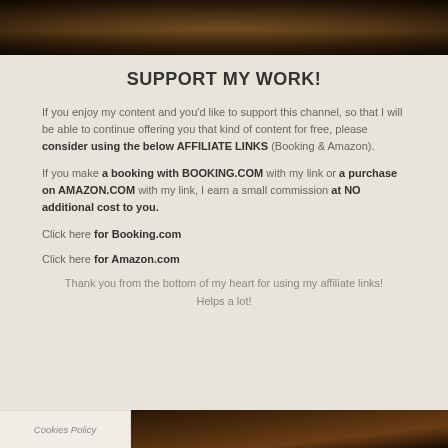[Figure (photo): Dark atmospheric photo showing chairs/tables in dim lighting, restaurant or hall setting]
SUPPORT MY WORK!
If you enjoy my content and you'd like to support this channel, so that I will be able to continue offering you that kind of content for free, please consider using the below AFFILIATE LINKS (Booking & Amazon).
If you make a booking with BOOKING.COM with my link or a purchase on AMAZON.COM with my link, I earn a small commission at NO additional cost to you.
Click here for Booking.com
Click here for Amazon.com
Thank you from the bottom of my heart for using my affiliate links! Helps a lot!
Cookies Policy